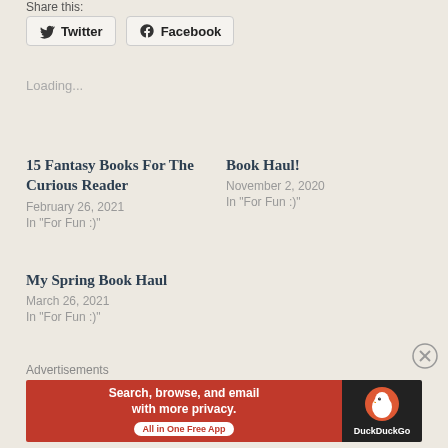Share this:
Twitter
Facebook
Loading...
15 Fantasy Books For The Curious Reader
February 26, 2021
In "For Fun :)"
Book Haul!
November 2, 2020
In "For Fun :)"
My Spring Book Haul
March 26, 2021
In "For Fun :)"
Advertisements
[Figure (other): DuckDuckGo advertisement banner: orange left panel with text 'Search, browse, and email with more privacy. All in One Free App' and dark right panel with DuckDuckGo duck logo]